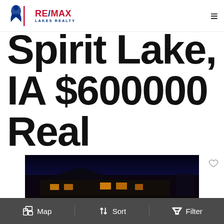RE/MAX LAKES REALTY
Spirit Lake, IA $600000 Real Estate
[Figure (photo): Nighttime exterior photo of a large residential property with illuminated windows against a dark blue sky]
Map  Sort  Filter